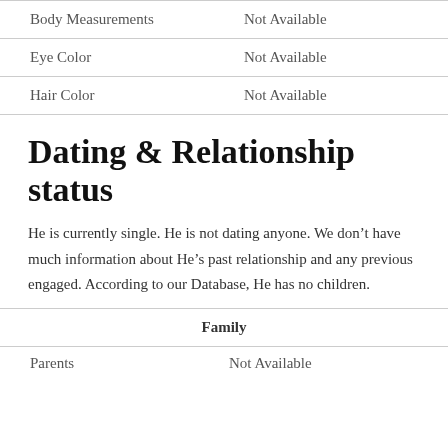|  |  |
| --- | --- |
| Body Measurements | Not Available |
| Eye Color | Not Available |
| Hair Color | Not Available |
Dating & Relationship status
He is currently single. He is not dating anyone. We don’t have much information about He’s past relationship and any previous engaged. According to our Database, He has no children.
| Family |
| --- |
| Parents | Not Available |